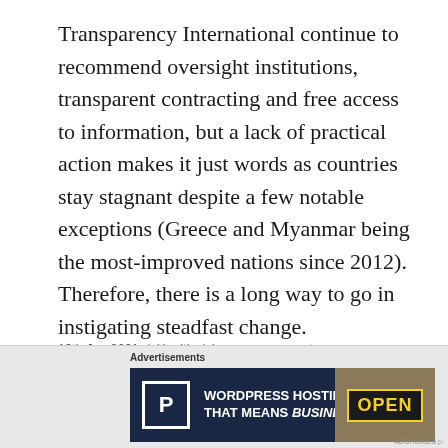Transparency International continue to recommend oversight institutions, transparent contracting and free access to information, but a lack of practical action makes it just words as countries stay stagnant despite a few notable exceptions (Greece and Myanmar being the most-improved nations since 2012). Therefore, there is a long way to go in instigating steadfast change.
12th Jun 2021 / Health / Leave a comment
[Figure (other): Advertisement banner: WordPress Hosting That Means Business. with a parking P icon and an OPEN sign image.]